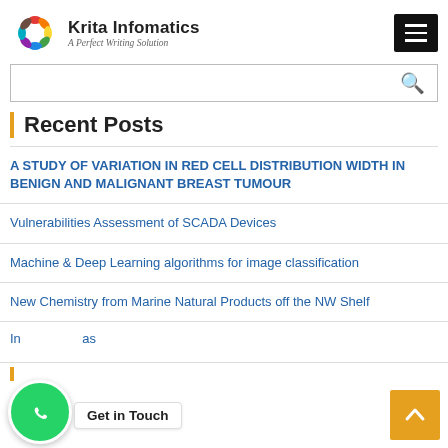Krita Infomatics — A Perfect Writing Solution
Recent Posts
A STUDY OF VARIATION IN RED CELL DISTRIBUTION WIDTH IN BENIGN AND MALIGNANT BREAST TUMOUR
Vulnerabilities Assessment of SCADA Devices
Machine & Deep Learning algorithms for image classification
New Chemistry from Marine Natural Products off the NW Shelf
In...as
[Figure (logo): Krita Infomatics logo — colorful swirl with text]
[Figure (other): WhatsApp contact button (green circle with phone icon) and 'Get in Touch' tooltip]
[Figure (other): Orange scroll-to-top button with up caret]